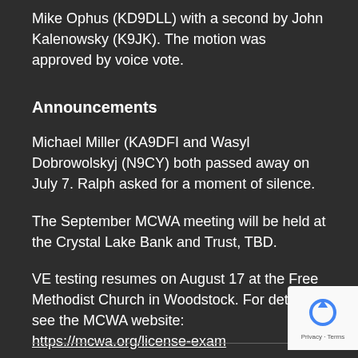Mike Ophus (KD9DLL) with a second by John Kalenowsky (K9JK). The motion was approved by voice vote.
Announcements
Michael Miller (KA9DFI and Wasyl Dobrowolskyj (N9CY) both passed away on July 7. Ralph asked for a moment of silence.
The September MCWA meeting will be held at the Crystal Lake Bank and Trust, TBD.
VE testing resumes on August 17 at the Free Methodist Church in Woodstock. For details see the MCWA website: https://mcwa.org/license-exam